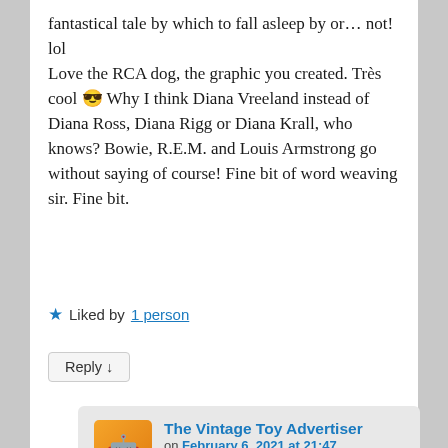fantastical tale by which to fall asleep by or... not! lol Love the RCA dog, the graphic you created. Très cool 😎 Why I think Diana Vreeland instead of Diana Ross, Diana Rigg or Diana Krall, who knows? Bowie, R.E.M. and Louis Armstrong go without saying of course! Fine bit of word weaving sir. Fine bit.
★ Liked by 1 person
Reply ↓
The Vintage Toy Advertiser on February 6, 2021 at 21:47 said: Thanks, D 🙂 Nice selection of Dianas there! Diane Rigg seems a good fit for me when I imagine how Dr. Diana looks.